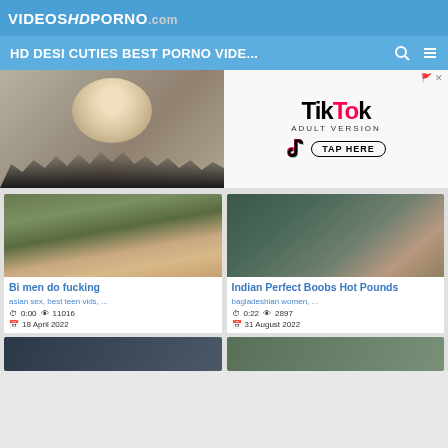VIDEOSHDPORNO.com
HD DESI CUTIES BEST PORNO VIDE...
[Figure (screenshot): TikTok Adult Version advertisement banner with hair/person image on left and TikTok logo with TAP HERE button on right]
[Figure (photo): Video thumbnail for 'Bi men do fucking' showing person lying in grass/outdoor setting]
Bi men do fucking
asian sex, best teen vids, ...
0:00  11016  18 April 2022
[Figure (photo): Video thumbnail for 'Indian Perfect Boobs Hot Pounds' showing close-up blurred content]
Indian Perfect Boobs Hot Pounds
bagladeshian women, ...
0:22  2897  31 August 2022
[Figure (photo): Video thumbnail bottom left - partially visible]
[Figure (photo): Video thumbnail bottom right - partially visible]